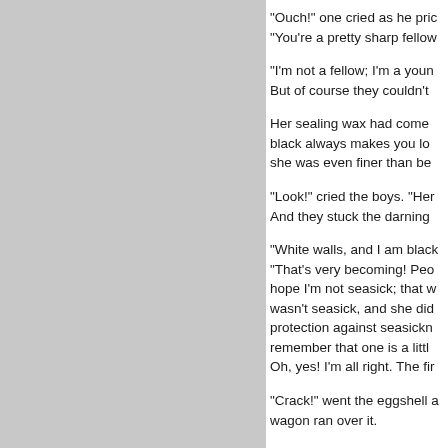[Figure (illustration): Gray rectangular image placeholder occupying the left portion of the page]
"Ouch!" one cried as he pric "You're a pretty sharp fellow "I'm not a fellow; I'm a youn But of course they couldn't Her sealing wax had come black always makes you lo she was even finer than be "Look!" cried the boys. "Her And they stuck the darning "White walls, and I am black "That's very becoming! Peo hope I'm not seasick; that w wasn't seasick, and she did protection against seasickn remember that one is a littl Oh, yes! I'm all right. The fir "Crack!" went the eggshell a wagon ran over it.